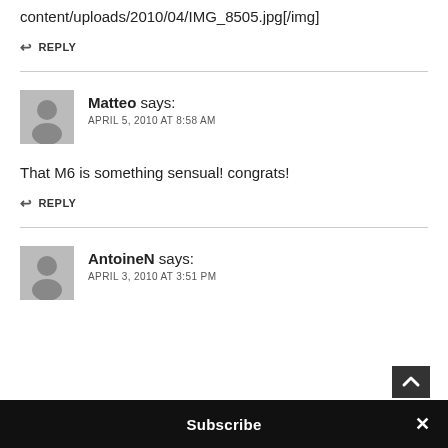content/uploads/2010/04/IMG_8505.jpg[/img]
↩ REPLY
Matteo says:
APRIL 5, 2010 AT 8:58 AM
That M6 is something sensual! congrats!
↩ REPLY
AntoineN says:
APRIL 3, 2010 AT 3:51 PM
Subscribe